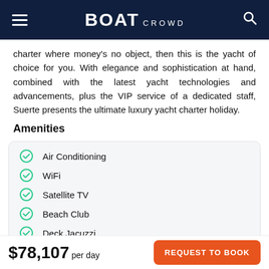BOAT CROWD
charter where money's no object, then this is the yacht of choice for you. With elegance and sophistication at hand, combined with the latest yacht technologies and advancements, plus the VIP service of a dedicated staff, Suerte presents the ultimate luxury yacht charter holiday.
Amenities
Air Conditioning
WiFi
Satellite TV
Beach Club
Deck Jacuzzi
Swimming Pool
Sauna
Gym
Elevator
$78,107 per day
REQUEST TO BOOK